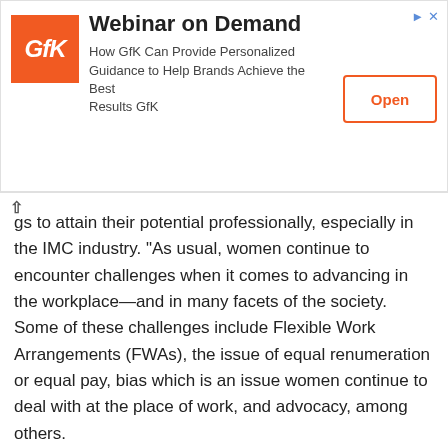[Figure (other): GfK advertisement banner: 'Webinar on Demand — How GfK Can Provide Personalized Guidance to Help Brands Achieve the Best Results GfK' with orange GfK logo and Open button]
gs to attain their potential professionally, especially in the IMC industry. “As usual, women continue to encounter challenges when it comes to advancing in the workplace—and in many facets of the society. Some of these challenges include Flexible Work Arrangements (FWAs), the issue of equal renumeration or equal pay, bias which is an issue women continue to deal with at the place of work, and advocacy, among others.
Victor Afolabi, Group Managing Director of GDM Group was the keynote speaker of the conference and he spoke on the general theme where he admonished brand custodians and marketers to always ensure that women are always made the fore focus of marketing strategies as they are economically